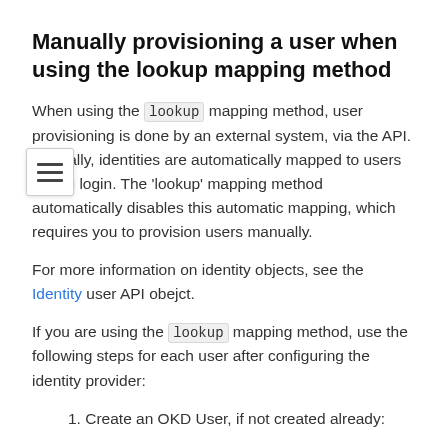Manually provisioning a user when using the lookup mapping method
When using the lookup mapping method, user provisioning is done by an external system, via the API. Typically, identities are automatically mapped to users during login. The 'lookup' mapping method automatically disables this automatic mapping, which requires you to provision users manually.
For more information on identity objects, see the Identity user API obejct.
If you are using the lookup mapping method, use the following steps for each user after configuring the identity provider:
1. Create an OKD User, if not created already: